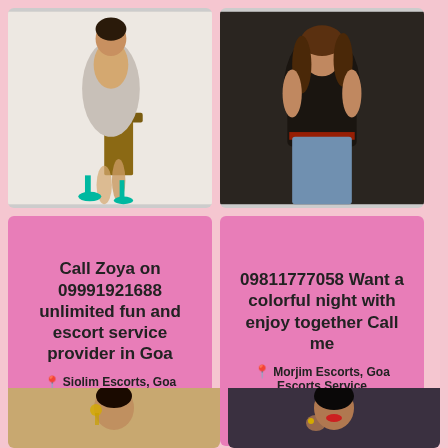[Figure (photo): Woman in grey dress sitting with teal high heels]
[Figure (photo): Woman in dark top posing]
Call Zoya on 09991921688 unlimited fun and escort service provider in Goa
📍 Siolim Escorts, Goa Escorts Service
09811777058 Want a colorful night with enjoy together Call me
📍 Morjim Escorts, Goa Escorts Service
[Figure (photo): Woman with jewelry posing]
[Figure (photo): Dark-haired woman posing]